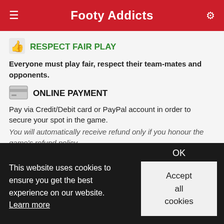Footy Addicts
RESPECT FAIR PLAY
Everyone must play fair, respect their team-mates and opponents.
ONLINE PAYMENT
Pay via Credit/Debit card or PayPal account in order to secure your spot in the game.
You will automatically receive refund only if you honour the game's refund policy
MARK NO-SHOWS
If for any reason you cannot make it to the game you need to modify your RSVP as soon as possible, in order to free your spot. In case you are in the attendance list and you do no turn
This website uses cookies to ensure you get the best experience on our website. Learn more
OK
Accept all cookies